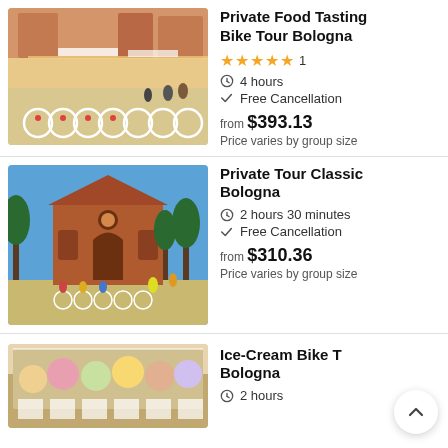[Figure (photo): Bikes parked in a Bologna street plaza with people and buildings]
Private Food Tasting Bike Tour Bologna
★★★★★ 1
4 hours
Free Cancellation
from $393.13
Price varies by group size
[Figure (photo): Group of cyclists in front of a historic Bologna church]
Private Tour Classic Bologna
2 hours 30 minutes
Free Cancellation
from $310.36
Price varies by group size
[Figure (photo): Ice cream display window]
Ice-Cream Bike Tour Bologna
2 hours